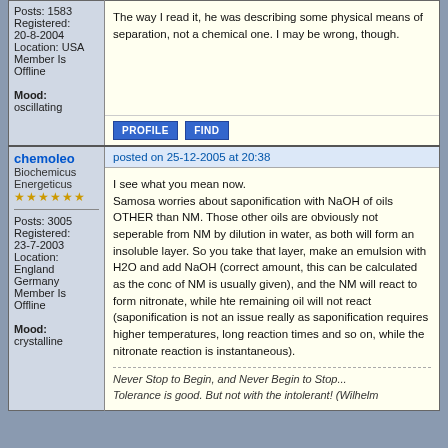The way I read it, he was describing some physical means of separation, not a chemical one. I may be wrong, though.
Posts: 1583
Registered: 20-8-2004
Location: USA
Member Is Offline

Mood: oscillating
PROFILE  FIND
chemoleo
Biochemicus Energeticus
★★★★★★
Posts: 3005
Registered: 23-7-2003
Location: England Germany
Member Is Offline
Mood: crystalline
posted on 25-12-2005 at 20:38
I see what you mean now. Samosa worries about saponification with NaOH of oils OTHER than NM. Those other oils are obviously not seperable from NM by dilution in water, as both will form an insoluble layer. So you take that layer, make an emulsion with H2O and add NaOH (correct amount, this can be calculated as the conc of NM is usually given), and the NM will react to form nitronate, while hte remaining oil will not react (saponification is not an issue really as saponification requires higher temperatures, long reaction times and so on, while the nitronate reaction is instantaneous).
Never Stop to Begin, and Never Begin to Stop...
Tolerance is good. But not with the intolerant! (Wilhelm